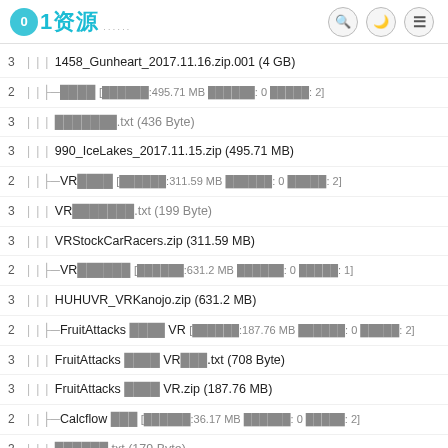01资源
3 | | | 1458_Gunheart_2017.11.16.zip.001 (4 GB)
2 | | ├─░░░░ [░░░░░░:495.71 MB ░░░░░░: 0 ░░░░░: 2]
3 | | | | ░░░░░░░.txt (436 Byte)
3 | | | | 990_IceLakes_2017.11.15.zip (495.71 MB)
2 | | ├─VR░░░░ [░░░░░░:311.59 MB ░░░░░░: 0 ░░░░░: 2]
3 | | | | VR░░░░░░░.txt (199 Byte)
3 | | | | VRStockCarRacers.zip (311.59 MB)
2 | | ├─VR░░░░░░ [░░░░░░:631.2 MB ░░░░░░: 0 ░░░░░: 1]
3 | | | | HUHUVR_VRKanojo.zip (631.2 MB)
2 | | ├─FruitAttacks ░░░░ VR [░░░░░░:187.76 MB ░░░░░░: 0 ░░░░░: 2]
3 | | | | FruitAttacks ░░░░ VR░░░.txt (708 Byte)
3 | | | | FruitAttacks ░░░░ VR.zip (187.76 MB)
2 | | ├─Calcflow ░░░ [░░░░░░:36.17 MB ░░░░░░: 0 ░░░░░: 2]
3 | | | | ░░░░░░.txt (179 Byte)